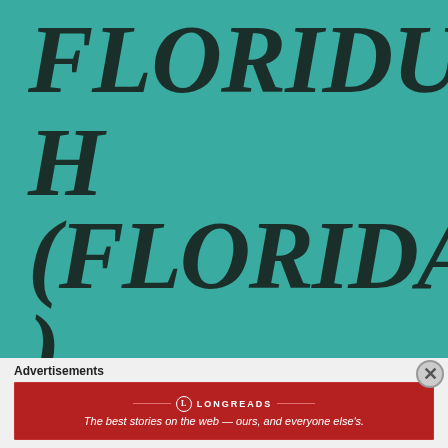FLORIDU H (FLORIDA)
Advertisements
[Figure (other): Longreads advertisement banner — red background with Longreads logo and tagline: The best stories on the web — ours, and everyone else's.]